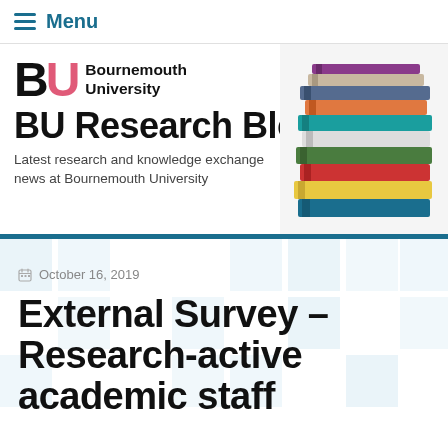≡ Menu
[Figure (logo): Bournemouth University BU logo with stylized B and U letters, U in pink/coral color]
BU Research Blog
Latest research and knowledge exchange news at Bournemouth University
[Figure (photo): Stack of colorful books on right side of header]
October 16, 2019
External Survey – Research-active academic staff